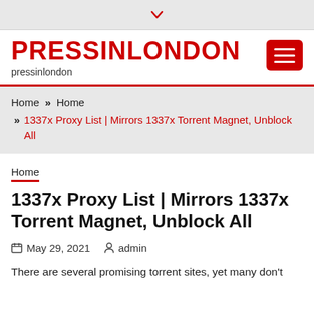PRESSINLONDON | pressinlondon
Home » Home » 1337x Proxy List | Mirrors 1337x Torrent Magnet, Unblock All
Home
1337x Proxy List | Mirrors 1337x Torrent Magnet, Unblock All
May 29, 2021   admin
There are several promising torrent sites, yet many don't